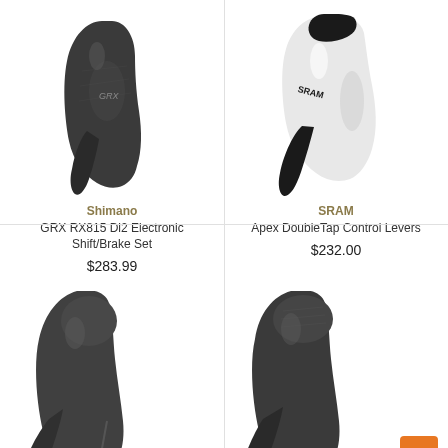[Figure (photo): Shimano GRX RX815 Di2 electronic shift/brake lever, dark gray/black, angled view]
Shimano
GRX RX815 Di2 Electronic Shift/Brake Set
$283.99
[Figure (photo): SRAM Apex DoubleTap control lever, black and white, angled view]
SRAM
Apex DoubleTap Control Levers
$232.00
[Figure (photo): Dark gray bicycle brake/shift lever, bottom-left quadrant, partially shown]
[Figure (photo): Dark gray/carbon bicycle brake/shift lever, bottom-right quadrant, partially shown, with orange scroll-to-top button overlay]